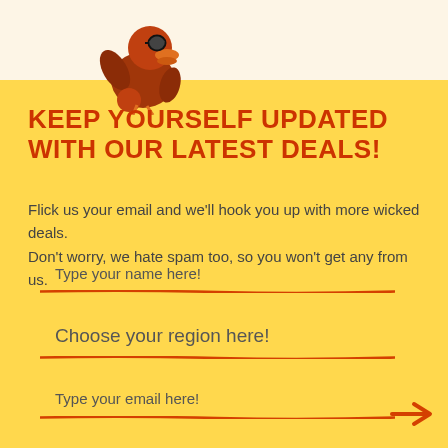[Figure (illustration): Cartoon bird mascot wearing sunglasses, orange/brown color, with a round body and raised wing, positioned in upper left area]
KEEP YOURSELF UPDATED WITH OUR LATEST DEALS!
Flick us your email and we'll hook you up with more wicked deals. Don't worry, we hate spam too, so you won't get any from us.
Type your name here!
Choose your region here!
Type your email here!